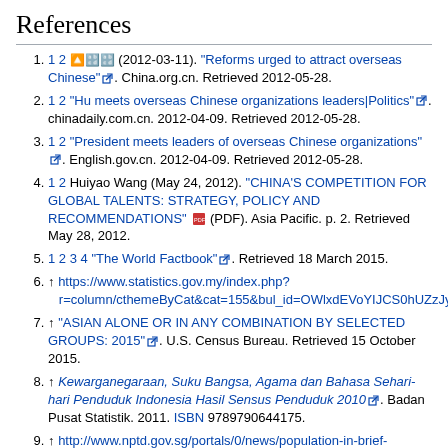References
1 2 跳↑ (2012-03-11). "Reforms urged to attract overseas Chinese". China.org.cn. Retrieved 2012-05-28.
1 2 "Hu meets overseas Chinese organizations leaders|Politics". chinadaily.com.cn. 2012-04-09. Retrieved 2012-05-28.
1 2 "President meets leaders of overseas Chinese organizations". English.gov.cn. 2012-04-09. Retrieved 2012-05-28.
1 2 Huiyao Wang (May 24, 2012). "CHINA'S COMPETITION FOR GLOBAL TALENTS: STRATEGY, POLICY AND RECOMMENDATIONS" (PDF). Asia Pacific. p. 2. Retrieved May 28, 2012.
1 2 3 4 "The World Factbook". Retrieved 18 March 2015.
↑ https://www.statistics.gov.my/index.php?r=column/cthemeByCat&cat=155&bul_id=OWlxdEVoYIJCS0hUZzJyRU...
↑ "ASIAN ALONE OR IN ANY COMBINATION BY SELECTED GROUPS: 2015". U.S. Census Bureau. Retrieved 15 October 2015.
↑ Kewarganegaraan, Suku Bangsa, Agama dan Bahasa Sehari-hari Penduduk Indonesia Hasil Sensus Penduduk 2010. Badan Pusat Statistik. 2011. ISBN 9789790644175.
↑ http://www.nptd.gov.sg/portals/0/news/population-in-brief-...